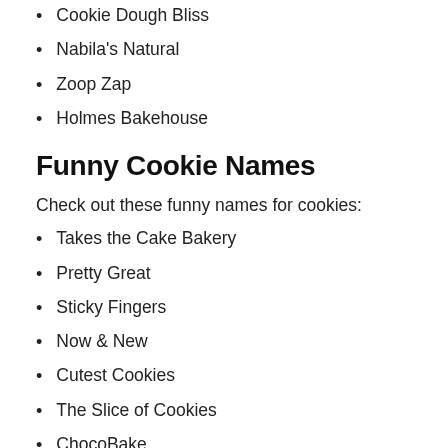Cookie Dough Bliss
Nabila's Natural
Zoop Zap
Holmes Bakehouse
Funny Cookie Names
Check out these funny names for cookies:
Takes the Cake Bakery
Pretty Great
Sticky Fingers
Now & New
Cutest Cookies
The Slice of Cookies
ChocoBake